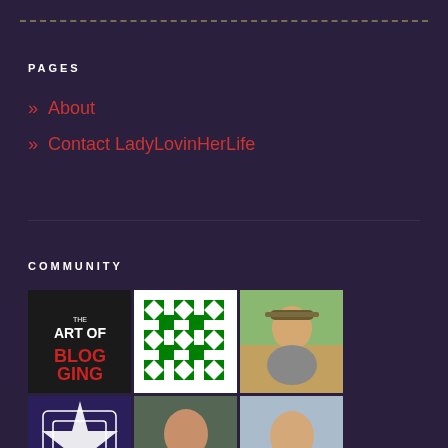PAGES
» About
» Contact LadyLovinHerLife
COMMUNITY
[Figure (photo): Grid of community member profile thumbnails including blog logos, geometric patterns, and profile photos]